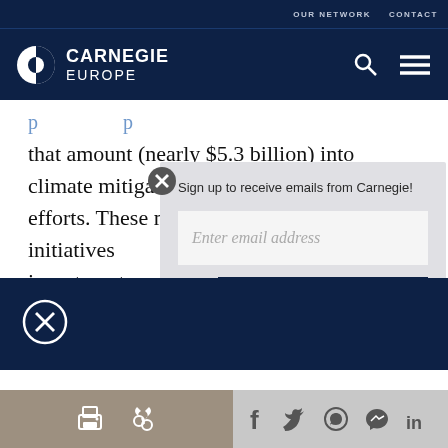OUR NETWORK   CONTACT
[Figure (logo): Carnegie Europe logo with half-circle icon]
that amount (nearly $5.3 billion) into climate mitigation efforts. These mitigation-focused initiatives... investment... emissions...
Sign up to receive emails from Carnegie!
Enter email address
SUBMIT ▶
Social share bar: print, link, Facebook, Twitter, WhatsApp, Messenger, LinkedIn